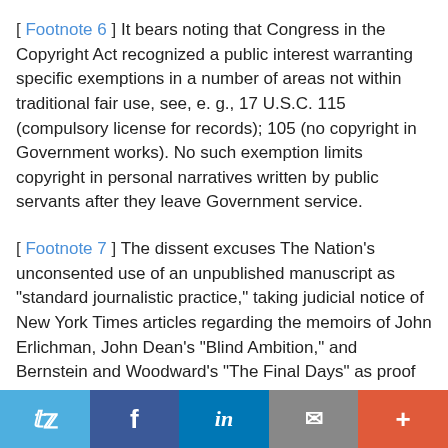[ Footnote 6 ] It bears noting that Congress in the Copyright Act recognized a public interest warranting specific exemptions in a number of areas not within traditional fair use, see, e. g., 17 U.S.C. 115 (compulsory license for records); 105 (no copyright in Government works). No such exemption limits copyright in personal narratives written by public servants after they leave Government service.
[ Footnote 7 ] The dissent excuses The Nation's unconsented use of an unpublished manuscript as "standard journalistic practice," taking judicial notice of New York Times articles regarding the memoirs of John Erlichman, John Dean's "Blind Ambition," and Bernstein and Woodward's "The Final Days" as proof of such practice. Post, at 590-593, and n. 14. Amici curiae sought to bring this alleged practice to the attention of the Court of Appeals for the Second Circuit,
Twitter | Facebook | LinkedIn | Email | More